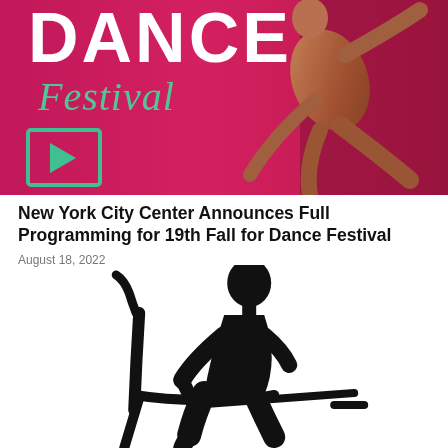[Figure (photo): Dance Festival promotional banner image showing the text 'DANCE Festival' in large letters over a pink/magenta background with a dancer in a dynamic pose, and a teal play button icon overlay at the bottom left.]
New York City Center Announces Full Programming for 19th Fall for Dance Festival
August 18, 2022
[Figure (illustration): Black silhouette illustration of a person seated in a chair, leaning forward, appearing to write or draw. A long stick or rod extends to the right from the figure's hands.]